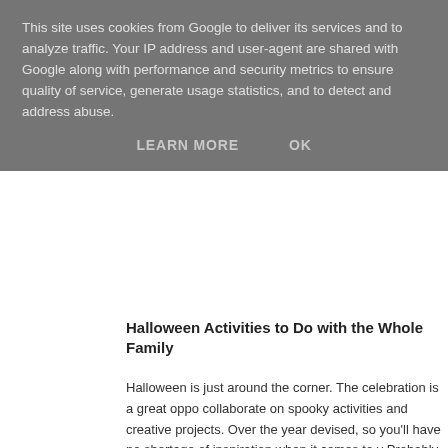This site uses cookies from Google to deliver its services and to analyze traffic. Your IP address and user-agent are shared with Google along with performance and security metrics to ensure quality of service, generate usage statistics, and to detect and address abuse.
LEARN MORE    OK
Halloween Activities to Do with the Whole Family
Halloween is just around the corner. The celebration is a great oppo collaborate on spooky activities and creative projects. Over the year devised, so you'll have no shortage of inspiration when it comes to y Probably the best-known activity for kids at this time of year is trick-o thanks to concerned parents and annoyed residents who don't want the door. So what are the alternatives?
Costumes
Halloween just wouldn't be Halloween if we didn't dress up for the oc